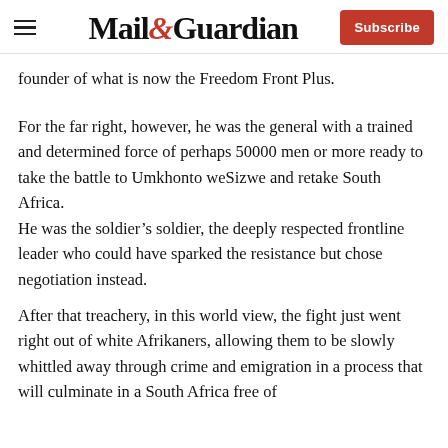Mail&Guardian — Subscribe
founder of what is now the Freedom Front Plus.
For the far right, however, he was the general with a trained and determined force of perhaps 50000 men or more ready to take the battle to Umkhonto weSizwe and retake South Africa.
He was the soldier's soldier, the deeply respected frontline leader who could have sparked the resistance but chose negotiation instead.
After that treachery, in this world view, the fight just went right out of white Afrikaners, allowing them to be slowly whittled away through crime and emigration in a process that will culminate in a South Africa free of